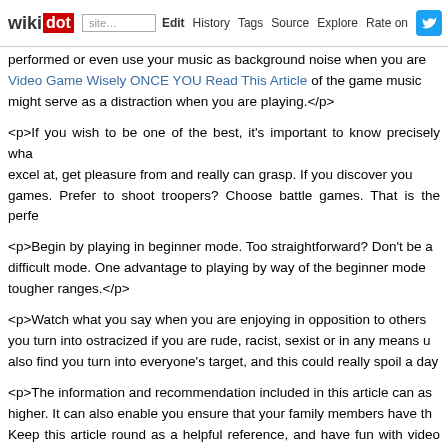wikidot | site | Edit | History | Tags | Source | Explore | Rate on [Twitter]
performed or even use your music as background noise when you are [Video Game Wisely ONCE YOU Read This Article] of the game music might serve as a distraction when you are playing.</p>
<p>If you wish to be one of the best, it's important to know precisely what excel at, get pleasure from and really can grasp. If you discover you games. Prefer to shoot troopers? Choose battle games. That is the perfect
<p>Begin by playing in beginner mode. Too straightforward? Don't be a difficult mode. One advantage to playing by way of the beginner mode tougher ranges.</p>
<p>Watch what you say when you are enjoying in opposition to others you turn into ostracized if you are rude, racist, sexist or in any means also find you turn into everyone's target, and this could really spoil a day
<p>The information and recommendation included in this article can as higher. It can also enable you ensure that your family members have th Keep this article round as a helpful reference, and have fun with video ga
Every little thing It is advisable to Know about Inv
Tags:
<h1>All the things You'll want to Know about Investing Your Cash</h1>
<p>People are all the time trying for tactics to make more money. [Just Recommendation] in real property is a method to do that. It is an efficient you must know the right way to do it properly. Keep studying for [Re